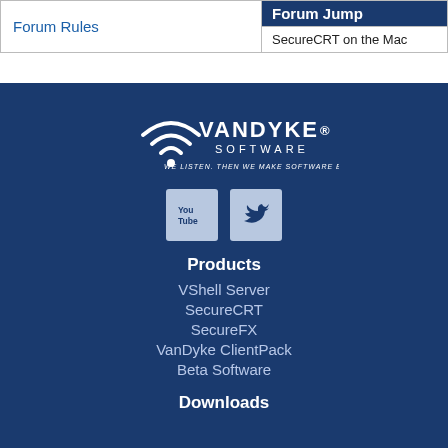| Forum Rules | Forum Jump
SecureCRT on the Mac |
[Figure (logo): VanDyke Software logo with tagline 'WE LISTEN. THEN WE MAKE SOFTWARE BETTER.' and social media icons for YouTube and Twitter]
Products
VShell Server
SecureCRT
SecureFX
VanDyke ClientPack
Beta Software
Downloads